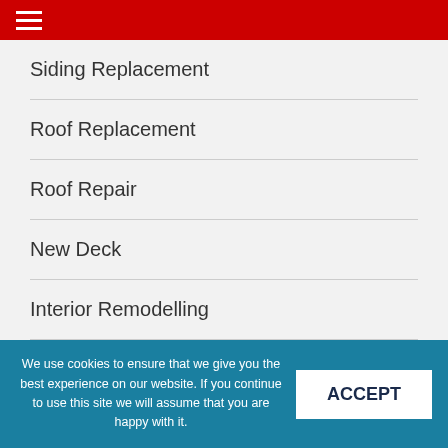Navigation menu header bar
Siding Replacement
Roof Replacement
Roof Repair
New Deck
Interior Remodelling
Find Us on Social
We use cookies to ensure that we give you the best experience on our website. If you continue to use this site we will assume that you are happy with it.